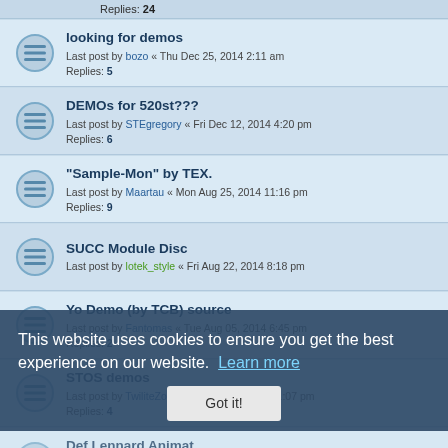Replies: 24
looking for demos — Last post by bozo « Thu Dec 25, 2014 2:11 am — Replies: 5
DEMOs for 520st??? — Last post by STEgregory « Fri Dec 12, 2014 4:20 pm — Replies: 6
"Sample-Mon" by TEX. — Last post by Maartau « Mon Aug 25, 2014 11:16 pm — Replies: 9
SUCC Module Disc — Last post by lotek_style « Fri Aug 22, 2014 8:18 pm
Yo Demo (by TCB) source — Last post by Fantomas « Tue Aug 05, 2014 6:45 pm — Replies: 2
STOS demos — Last post by TwiliteZoner « Tue Apr 22, 2014 1:07 pm — Replies: 4
Def Lennard Animat. — Last post by TwiliteZoner « Mon Apr 14, 2014 3:13 pm — Replies: 4
Looking for Norwegian stuff - especially OUCH! — Last post by lotek_style « Fri Mar 14, 2014 5:01 pm — Replies: 19
"Oh Well, That's Life" demo — Last post by Marchocias « Mon Feb 24, 2014 4:48 pm
I need your diskmags :)
This website uses cookies to ensure you get the best experience on our website. Learn more
Got it!